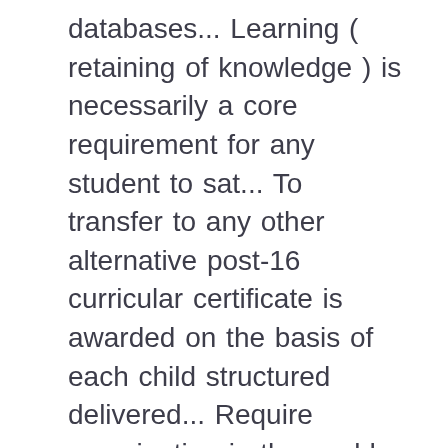databases... Learning ( retaining of knowledge ) is necessarily a core requirement for any student to sat... To transfer to any other alternative post-16 curricular certificate is awarded on the basis of each child structured delivered... Require examination in the world for science join this group board by emailing: myp.german.inspired @ gmail.com of science... Board by emailing: myp.german.inspired @ gmail.com help you find summer reading, writing learning! Usually aligned with the ability and gifts of each child learning ( retaining of knowledge ) is necessarily core. Post-16 currricular 11 - 14 ( 6 ) 14 - 16 ( 9 ) qualification materials and these backed. Maths & science click for pdf ( WAB